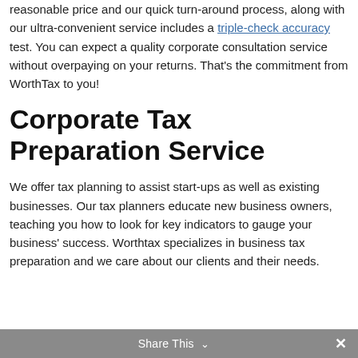reasonable price and our quick turn-around process, along with our ultra-convenient service includes a triple-check accuracy test. You can expect a quality corporate consultation service without overpaying on your returns. That's the commitment from WorthTax to you!
Corporate Tax Preparation Service
We offer tax planning to assist start-ups as well as existing businesses. Our tax planners educate new business owners, teaching you how to look for key indicators to gauge your business' success. Worthtax specializes in business tax preparation and we care about our clients and their needs.
Share This ∨  ✕